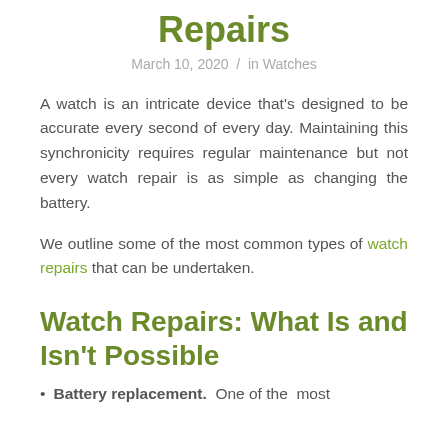Repairs
March 10, 2020 / in Watches
A watch is an intricate device that's designed to be accurate every second of every day. Maintaining this synchronicity requires regular maintenance but not every watch repair is as simple as changing the battery.
We outline some of the most common types of watch repairs that can be undertaken.
Watch Repairs: What Is and Isn't Possible
Battery replacement. One of the most